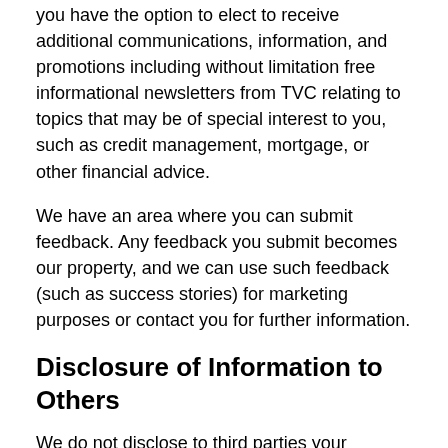you have the option to elect to receive additional communications, information, and promotions including without limitation free informational newsletters from TVC relating to topics that may be of special interest to you, such as credit management, mortgage, or other financial advice.
We have an area where you can submit feedback. Any feedback you submit becomes our property, and we can use such feedback (such as success stories) for marketing purposes or contact you for further information.
Disclosure of Information to Others
We do not disclose to third parties your personal information, combined personal and demographic information or information about your use of TVC (such as the areas you visit on our Site or the